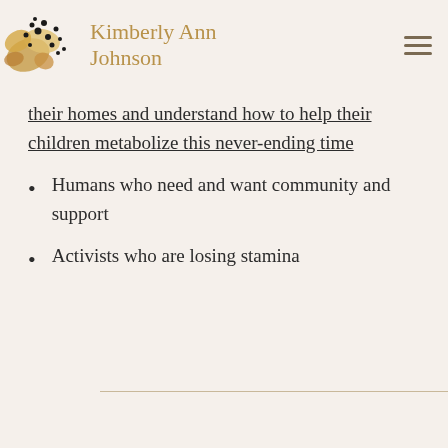Kimberly Ann Johnson
their homes and understand how to help their children metabolize this never-ending time
Humans who need and want community and support
Activists who are losing stamina